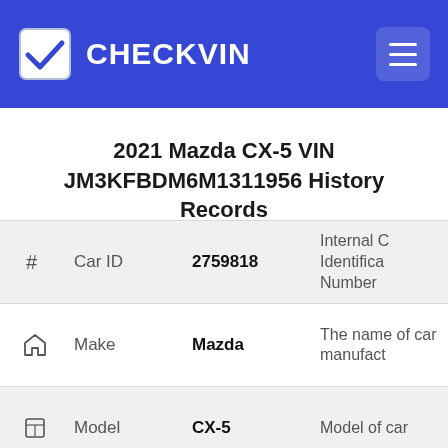CHECKVIN
2021 Mazda CX-5 VIN JM3KFBDM6M1311956 History Records
| # | Car ID | 2759818 | Internal Car Identification Number |
| --- | --- | --- | --- |
| home-icon | Make | Mazda | The name of car manufacturer |
| tag-icon | Model | CX-5 | Model of car |